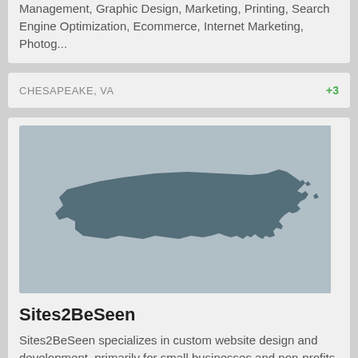Management, Graphic Design, Marketing, Printing, Search Engine Optimization, Ecommerce, Internet Marketing, Photog...
CHESAPEAKE, VA
+3
[Figure (illustration): Silhouette map of the state of Virginia on a light grey background]
Sites2BeSeen
Sites2BeSeen specializes in custom website design and development, primarily for small businesses and non-profits. We build static sites as well as conten...